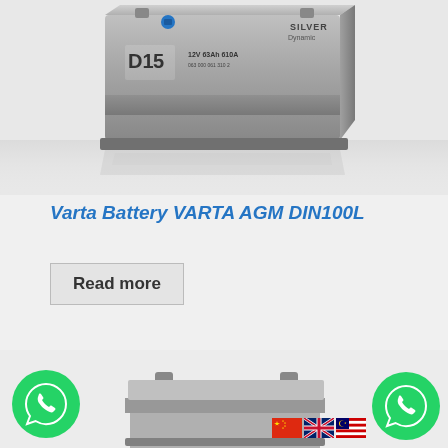[Figure (photo): Silver Varta battery product photo (Silver Dynamic D15 12V 63Ah 610A) viewed from top-front angle on white/grey reflective background]
Varta Battery VARTA AGM DIN100L
Read more
[Figure (photo): Partial view of another Varta battery product at the bottom of the page]
[Figure (logo): WhatsApp icon bottom left - green circle with phone handset]
[Figure (logo): WhatsApp icon bottom right - green circle with phone handset]
[Figure (other): Language flags: Chinese, UK, Malaysian flags for language selection]